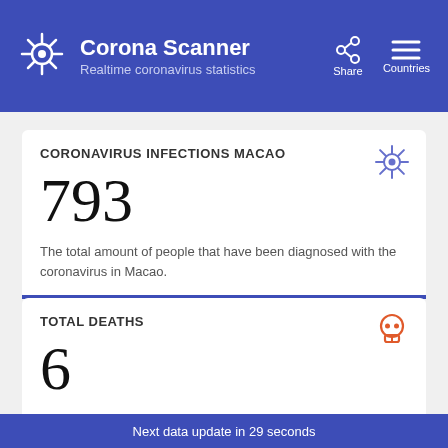Corona Scanner — Realtime coronavirus statistics
CORONAVIRUS INFECTIONS MACAO
793
The total amount of people that have been diagnosed with the coronavirus in Macao.
TOTAL DEATHS
6
0.76% of the infected people in Macao died.
CURRENTLY INFECTED
Next data update in 29 seconds